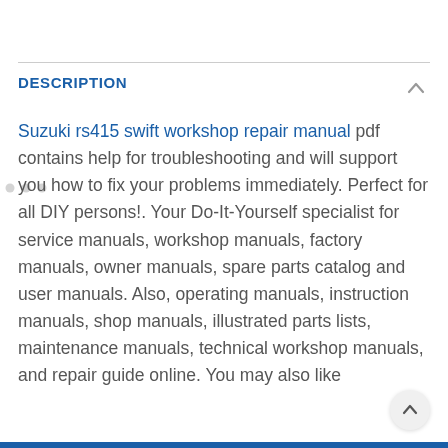DESCRIPTION
Suzuki rs415 swift workshop repair manual pdf contains help for troubleshooting and will support you how to fix your problems immediately. Perfect for all DIY persons!. Your Do-It-Yourself specialist for service manuals, workshop manuals, factory manuals, owner manuals, spare parts catalog and user manuals. Also, operating manuals, instruction manuals, shop manuals, illustrated parts lists, maintenance manuals, technical workshop manuals, and repair guide online. You may also like